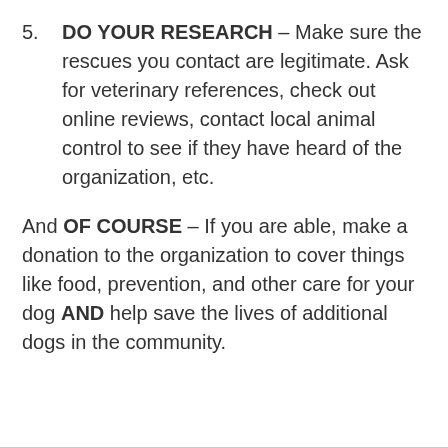5. DO YOUR RESEARCH – Make sure the rescues you contact are legitimate. Ask for veterinary references, check out online reviews, contact local animal control to see if they have heard of the organization, etc.
And OF COURSE – If you are able, make a donation to the organization to cover things like food, prevention, and other care for your dog AND help save the lives of additional dogs in the community.